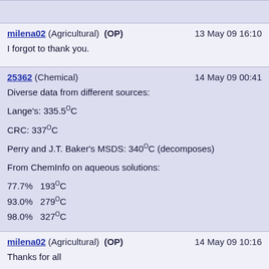milena02 (Agricultural) (OP)   13 May 09 16:10
I forgot to thank you.
25362 (Chemical)   14 May 09 00:41
Diverse data from different sources:
Lange's: 335.5°C
CRC: 337°C
Perry and J.T. Baker's MSDS: 340°C (decomposes)
From ChemInfo on aqueous solutions:
77.7%  193°C
93.0%  279°C
98.0%  327°C
milena02 (Agricultural) (OP)   14 May 09 10:16
Thanks for all